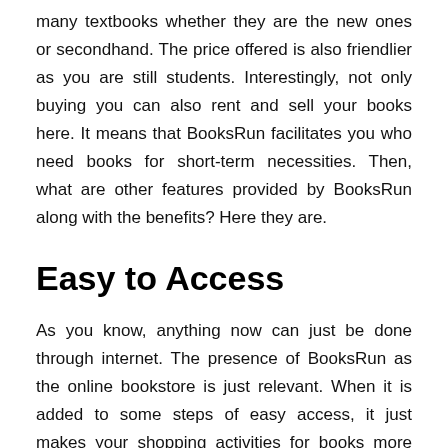many textbooks whether they are the new ones or secondhand. The price offered is also friendlier as you are still students. Interestingly, not only buying you can also rent and sell your books here. It means that BooksRun facilitates you who need books for short-term necessities. Then, what are other features provided by BooksRun along with the benefits? Here they are.
Easy to Access
As you know, anything now can just be done through internet. The presence of BooksRun as the online bookstore is just relevant. When it is added to some steps of easy access, it just makes your shopping activities for books more interesting. To do it, just access the official website of BooksRun and there is a search bar available. Type the title of author or book you are looking for and click the button.